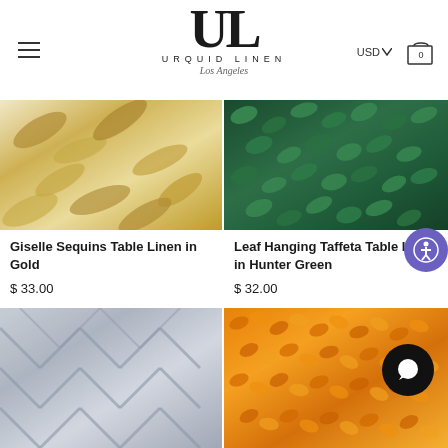[Figure (logo): Urquid Linen Los Angeles logo with large UL monogram and brand name]
[Figure (photo): Giselle Sequins Table Linen in Gold - close-up of golden leaf/branch embroidered fabric]
[Figure (photo): Leaf Hanging Taffeta Table Linen in Hunter Green - dense green leaf pattern]
Giselle Sequins Table Linen in Gold
$ 33.00
Leaf Hanging Taffeta Table Linen in Hunter Green
$ 32.00
[Figure (photo): Silver/grey geometric patterned table linen on round table]
[Figure (photo): Orange/amber petal or leaf textured table linen]